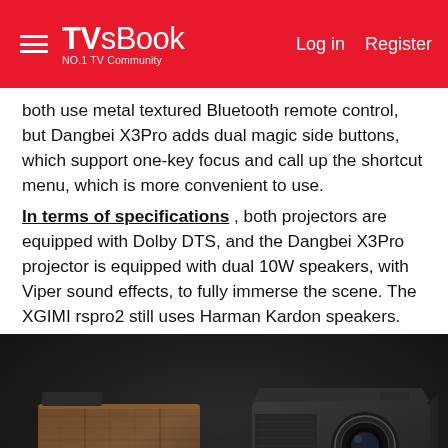TVsBook NO.1 TV Community — Log in  Register
both use metal textured Bluetooth remote control, but Dangbei X3Pro adds dual magic side buttons, which support one-key focus and call up the shortcut menu, which is more convenient to use. In terms of specifications , both projectors are equipped with Dolby DTS, and the Dangbei X3Pro projector is equipped with dual 10W speakers, with Viper sound effects, to fully immerse the scene. The XGIMI rspro2 still uses Harman Kardon speakers.
[Figure (photo): Two projectors side by side on black pedestals against a dark background. Left: XGIMI RS Pro 2 projector with brown/bronze fabric-textured rectangular body. Right: Dangbei X3Pro projector with black angular body featuring a circular lens.]